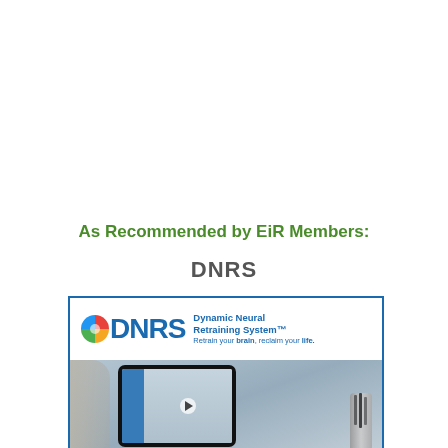As Recommended by EiR Members:
DNRS
[Figure (logo): DNRS (Dynamic Neural Retraining System) advertisement image. Shows the DNRS logo with colorful sphere icon and blue text reading 'Dynamic Neural Retraining System™' with tagline 'Retrain your brain, reclaim your life.' Below is a lifestyle photo showing a tablet computer displaying the DNRS website with a woman's video playing, a blurred person on the left, and a pencil/pen holder on the right.]